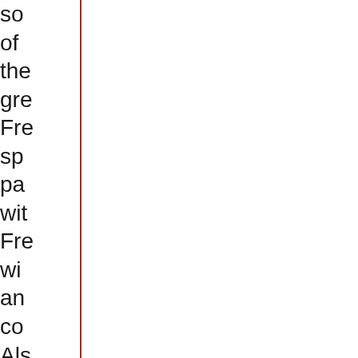so of the gre Fre sp pa wit Fre wi an co Als yo he me ra ab the